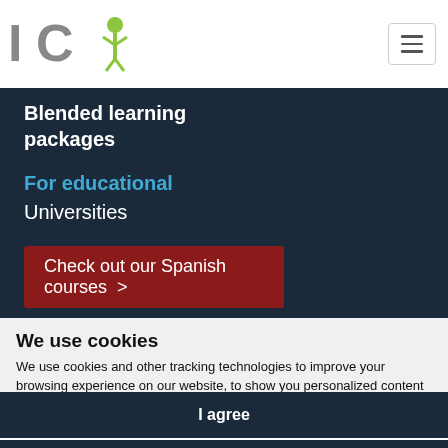[Figure (logo): ICi expertos en formación logo with gray IC letters and green plant icon]
Blended learning packages
For educational
Universities
Check out our Spanish courses >
We use cookies
We use cookies and other tracking technologies to improve your browsing experience on our website, to show you personalized content and targeted ads, to analyze our website traffic, and to understand where our visitors are coming from.
I agree
I decline